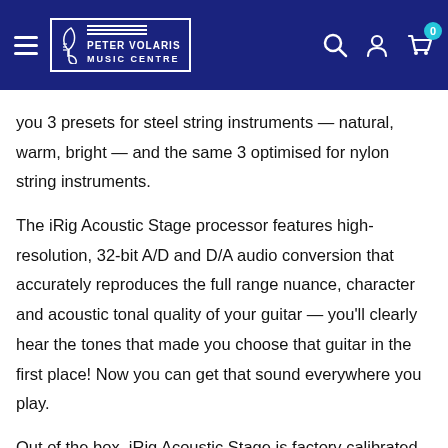Peter Volaris Music Centre — navigation header
you 3 presets for steel string instruments — natural, warm, bright — and the same 3 optimised for nylon string instruments.
The iRig Acoustic Stage processor features high-resolution, 32-bit A/D and D/A audio conversion that accurately reproduces the full range nuance, character and acoustic tonal quality of your guitar — you'll clearly hear the tones that made you choose that guitar in the first place! Now you can get that sound everywhere you play.
Out of the box, iRig Acoustic Stage is factory calibrated to sound great with most guitars. However, you can also customise the setup and calibrate iRig Acoustic Stage to optimise the overall response of the DSP specifically for your instrument, making